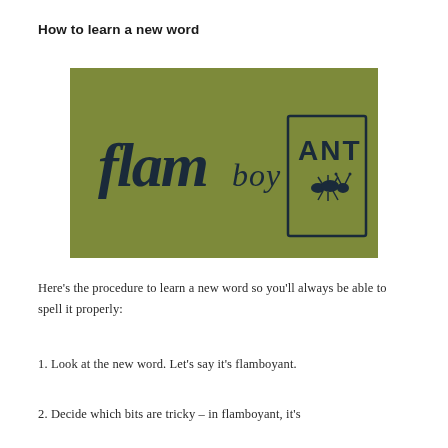How to learn a new word
[Figure (photo): A green card showing the word 'flamboyant' broken into parts: 'flam' in large cursive handwriting, 'boy' in smaller text, and 'ANT' in a hand-drawn box with an illustration of an ant inside.]
Here's the procedure to learn a new word so you'll always be able to spell it properly:
1. Look at the new word. Let's say it's flamboyant.
2. Decide which bits are tricky – in flamboyant, it's